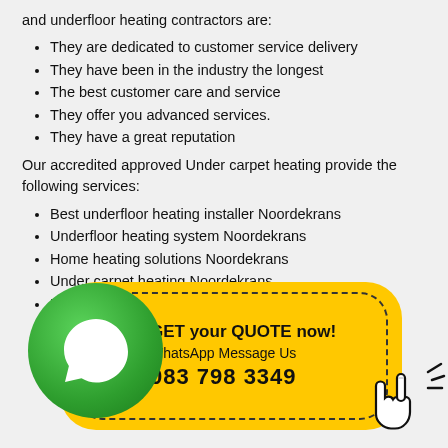and underfloor heating contractors are:
They are dedicated to customer service delivery
They have been in the industry the longest
The best customer care and service
They offer you advanced services.
They have a great reputation
Our accredited approved Under carpet heating provide the following services:
Best underfloor heating installer Noordekrans
Underfloor heating system Noordekrans
Home heating solutions Noordekrans
Under carpet heating Noordekrans
Underfloor heating price Noordekrans
Underfloor heating Noordekrans
[partially hidden]
[partially hidden]
[partially hidden]
[partially hidden]
[partially hidden]
[partially hidden] heating Noordekrans
Underfloor heating repairs Noordekrans
Speedheat underfloor heating Noordekrans
[Figure (infographic): WhatsApp promotional banner with green WhatsApp circle icon on left, yellow rounded rectangle with dashed border containing 'GET your QUOTE now!', 'WhatsApp Message Us', '083 798 3349', and a hand cursor icon on the right.]